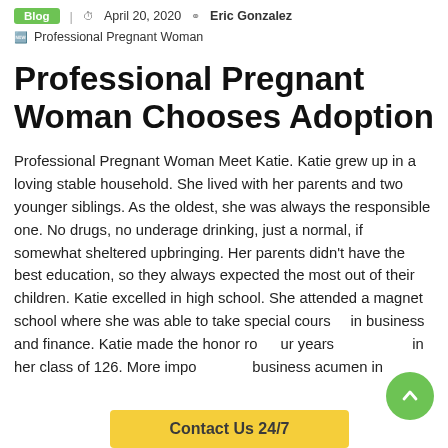Blog | April 20, 2020 | Eric Gonzalez
Professional Pregnant Woman
Professional Pregnant Woman Chooses Adoption
Professional Pregnant Woman Meet Katie. Katie grew up in a loving stable household. She lived with her parents and two younger siblings. As the oldest, she was always the responsible one. No drugs, no underage drinking, just a normal, if somewhat sheltered upbringing. Her parents didn't have the best education, so they always expected the most out of their children. Katie excelled in high school. She attended a magnet school where she was able to take special courses in business and finance. Katie made the honor roll four years in her class of 126. More importantly, her business acumen in